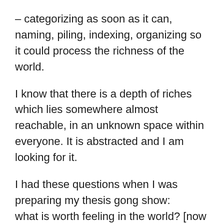– categorizing as soon as it can, naming, piling, indexing, organizing so it could process the richness of the world.
I know that there is a depth of riches which lies somewhere almost reachable, in an unknown space within everyone. It is abstracted and I am looking for it.
I had these questions when I was preparing my thesis gong show:
what is worth feeling in the world? [now I see feeling, thinking and perceiving as part of the same human experience]
do we wear our cloths or do our clothes wear us? [